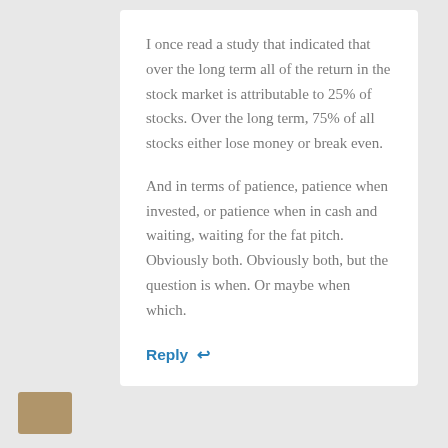I once read a study that indicated that over the long term all of the return in the stock market is attributable to 25% of stocks. Over the long term, 75% of all stocks either lose money or break even.
And in terms of patience, patience when invested, or patience when in cash and waiting, waiting for the fat pitch. Obviously both. Obviously both, but the question is when. Or maybe when which.
Reply ↩